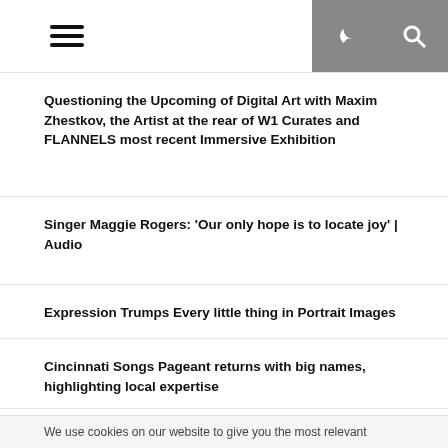Navigation bar with hamburger menu, moon/night mode icon, and search icon
Questioning the Upcoming of Digital Art with Maxim Zhestkov, the Artist at the rear of W1 Curates and FLANNELS most recent Immersive Exhibition
Singer Maggie Rogers: ‘Our only hope is to locate joy’ | Audio
Expression Trumps Every little thing in Portrait Images
Cincinnati Songs Pageant returns with big names, highlighting local expertise
Archives
We use cookies on our website to give you the most relevant